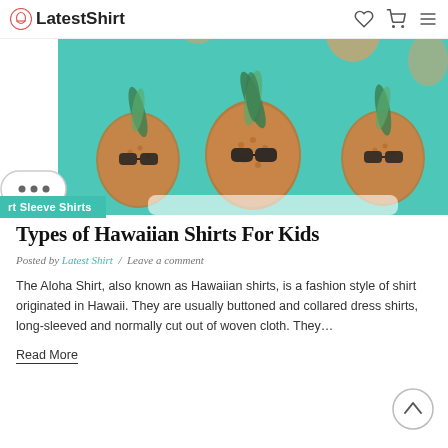LatestShirt
[Figure (photo): Hawaiian shirt with pineapple pattern wearing sunglasses on teal background, product image]
rt Sleeve Shirts
Types of Hawaiian Shirts For Kids
Posted by Latest Shirt / Leave a comment
The Aloha Shirt, also known as Hawaiian shirts, is a fashion style of shirt originated in Hawaii. They are usually buttoned and collared dress shirts, long-sleeved and normally cut out of woven cloth. They…
Read More